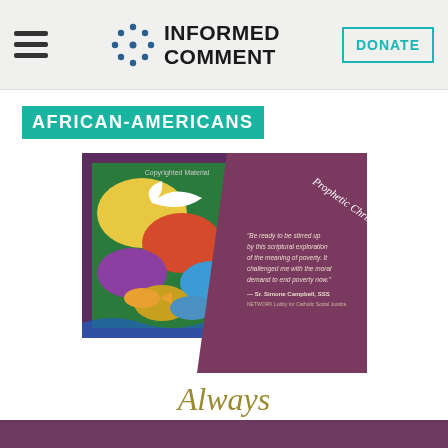INFORMED COMMENT — DONATE
AFRICAN-AMERICANS
[Figure (illustration): Book cover for 'Always with Us? What Jesus Really Said about the Poor' — Prophetic Christianity series. Cover shows colorful abstract painting with birds and fish, with a mauve/purple diagonal panel containing a quote from Sr. Simone Campbell, SSS.]
Always with Us?
What Jesus Really Said about the Poor